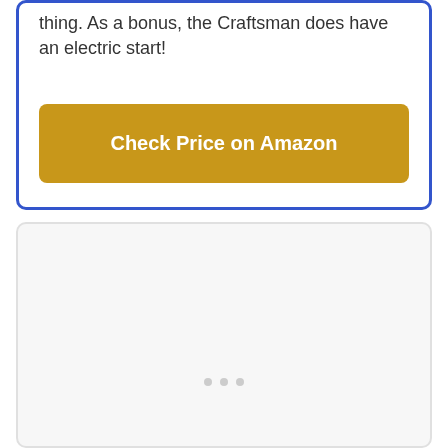thing. As a bonus, the Craftsman does have an electric start!
[Figure (other): Gold/yellow button labeled 'Check Price on Amazon']
[Figure (other): Light gray placeholder card region with three small dots near the bottom center]